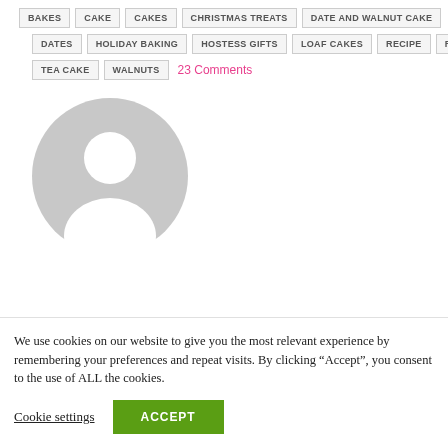BAKES  CAKE  CAKES  CHRISTMAS TREATS  DATE AND WALNUT CAKE
DATES  HOLIDAY BAKING  HOSTESS GIFTS  LOAF CAKES  RECIPE  RECIPES
TEA CAKE  WALNUTS  23 Comments
[Figure (illustration): Default user avatar: grey circle with white silhouette of a person (head and shoulders)]
We use cookies on our website to give you the most relevant experience by remembering your preferences and repeat visits. By clicking “Accept”, you consent to the use of ALL the cookies.
Cookie settings  ACCEPT